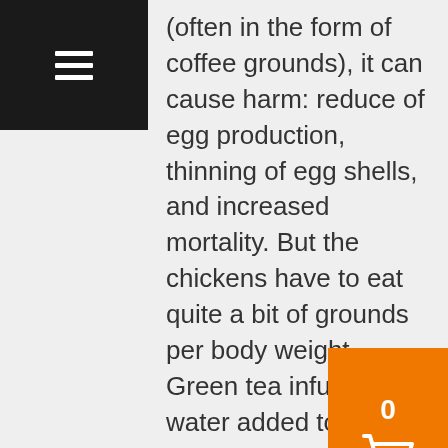[Figure (other): Black navigation bar with hamburger menu icon (three horizontal white lines)]
(often in the form of coffee grounds), it can cause harm: reduce of egg production, thinning of egg shells, and increased mortality. But the chickens have to eat quite a bit of grounds per body weight. Green tea infused water added to their drinking water doesn't contain enough caffeine to cause the kind of harm studied. The avian digestive tract is quite different from humans, so the digestive benefits
[Figure (other): Orange shopping cart button showing count 0 and a shopping cart icon]